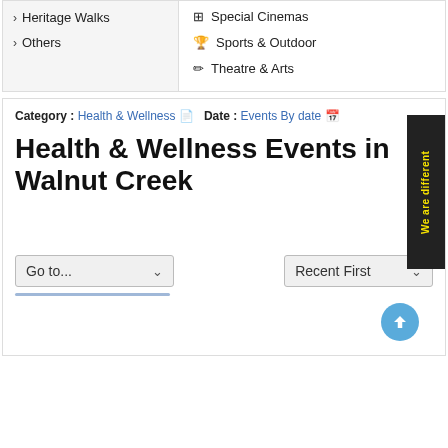> Heritage Walks
> Others
⊞ Special Cinemas
🏆 Sports & Outdoor
✏ Theatre & Arts
Category : Health & Wellness 📄 Date : Events By date 📅
Health & Wellness Events in Walnut Creek